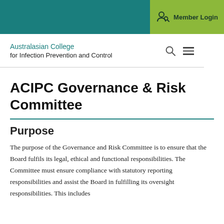Member Login
[Figure (logo): Australasian College for Infection Prevention and Control logo with teal text]
ACIPC Governance & Risk Committee
Purpose
The purpose of the Governance and Risk Committee is to ensure that the Board fulfils its legal, ethical and functional responsibilities. The Committee must ensure compliance with statutory reporting responsibilities and assist the Board in fulfilling its oversight responsibilities. This includes